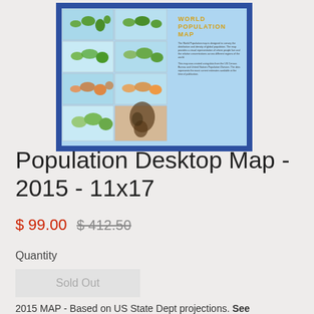[Figure (map): World Population Map product image showing multiple world maps arranged in a grid on a blue background with title 'WORLD POPULATION MAP' in gold text]
Population Desktop Map - 2015 - 11x17
$ 99.00  $ 412.50
Quantity
Sold Out
2015 MAP - Based on US State Dept projections. See